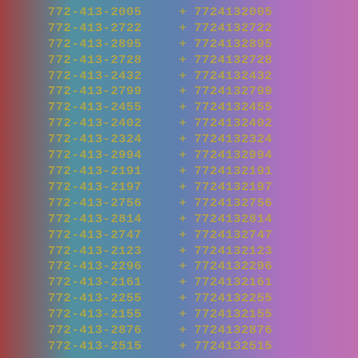772-413-2005 + 7724132005
772-413-2722 + 7724132722
772-413-2895 + 7724132895
772-413-2728 + 7724132728
772-413-2432 + 7724132432
772-413-2799 + 7724132799
772-413-2455 + 7724132455
772-413-2402 + 7724132402
772-413-2324 + 7724132324
772-413-2994 + 7724132994
772-413-2191 + 7724132191
772-413-2197 + 7724132197
772-413-2756 + 7724132756
772-413-2814 + 7724132814
772-413-2747 + 7724132747
772-413-2123 + 7724132123
772-413-2296 + 7724132296
772-413-2161 + 7724132161
772-413-2255 + 7724132255
772-413-2155 + 7724132155
772-413-2876 + 7724132876
772-413-2515 + 7724132515